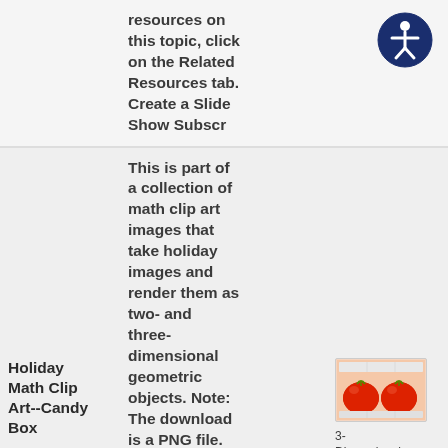resources on this topic, click on the Related Resources tab. Create a Slide Show Subscr
[Figure (logo): Accessibility icon: dark blue circle with white person/wheelchair symbol]
Holiday Math Clip Art--Candy Box
This is part of a collection of math clip art images that take holiday images and render them as two- and three-dimensional geometric objects. Note: The download is a PNG file.
[Figure (photo): Thumbnail image showing two red tomatoes on a light pink/peach background with a grid-like frame]
3-Dimensional Figures, Applications of 3D Geometry